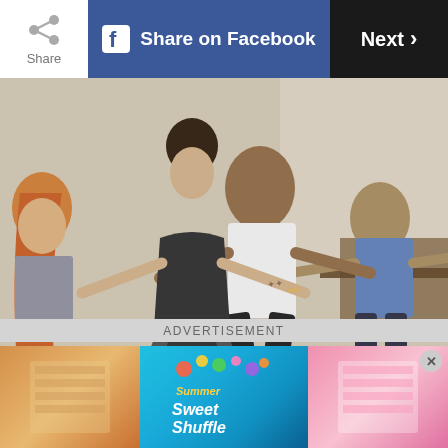Share | Share on Facebook | Next
[Figure (photo): Group of people in a yoga/fitness class performing warrior pose with arms extended sideways in a studio setting. Multiple participants visible including a woman in black tank top in foreground, a man in white t-shirt, and others in blue and grey tops.]
PHOTO CREDIT: SHUTTERSTOCK
“Avoid the urge to run out and do an
ADVERTISEMENT